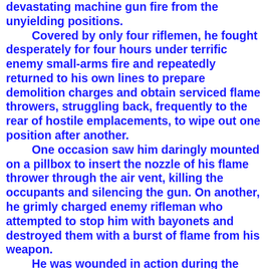devastating machine gun fire from the unyielding positions. Covered by only four riflemen, he fought desperately for four hours under terrific enemy small-arms fire and repeatedly returned to his own lines to prepare demolition charges and obtain serviced flame throwers, struggling back, frequently to the rear of hostile emplacements, to wipe out one position after another. One occasion saw him daringly mounted on a pillbox to insert the nozzle of his flame thrower through the air vent, killing the occupants and silencing the gun. On another, he grimly charged enemy rifleman who attempted to stop him with bayonets and destroyed them with a burst of flame from his weapon. He was wounded in action during the campaign on 6 March 1945, for which he was awarded the Purple Heart.